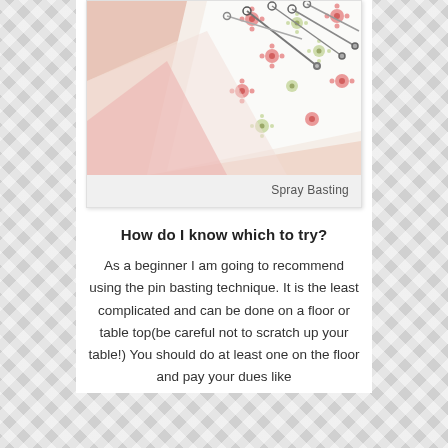[Figure (photo): Close-up photo of quilting fabric with pink floral pattern and safety pins for pin basting technique]
Spray Basting
How do I know which to try?
As a beginner I am going to recommend using the pin basting technique. It is the least complicated and can be done on a floor or table top(be careful not to scratch up your table!) You should do at least one on the floor and pay your dues like